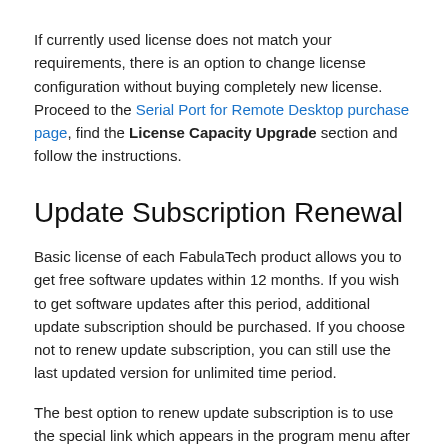If currently used license does not match your requirements, there is an option to change license configuration without buying completely new license. Proceed to the Serial Port for Remote Desktop purchase page, find the License Capacity Upgrade section and follow the instructions.
Update Subscription Renewal
Basic license of each FabulaTech product allows you to get free software updates within 12 months. If you wish to get software updates after this period, additional update subscription should be purchased. If you choose not to renew update subscription, you can still use the last updated version for unlimited time period.
The best option to renew update subscription is to use the special link which appears in the program menu after expiration of subscription period. Find the Renew Update